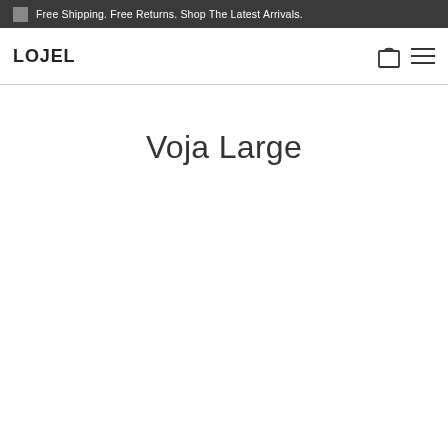Free Shipping. Free Returns. Shop The Latest Arrivals.
[Figure (logo): LOJEL brand logo in bold black text]
Voja Large